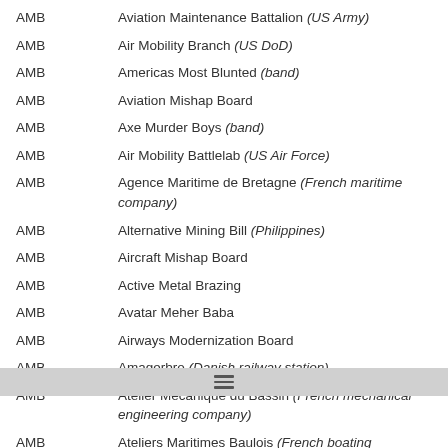| Abbreviation | Definition |
| --- | --- |
| AMB | Aviation Maintenance Battalion (US Army) |
| AMB | Air Mobility Branch (US DoD) |
| AMB | Americas Most Blunted (band) |
| AMB | Aviation Mishap Board |
| AMB | Axe Murder Boys (band) |
| AMB | Air Mobility Battlelab (US Air Force) |
| AMB | Agence Maritime de Bretagne (French maritime company) |
| AMB | Alternative Mining Bill (Philippines) |
| AMB | Aircraft Mishap Board |
| AMB | Active Metal Brazing |
| AMB | Avatar Meher Baba |
| AMB | Airways Modernization Board |
| AMB | Amagerbro (Danish railway station) |
| AMB | Atelier Mécanique du Bassin (French mechanical engineering company) |
| AMB | Ateliers Maritimes Baulois (French boating company) |
| AMB | Alsace-Mais-Benin |